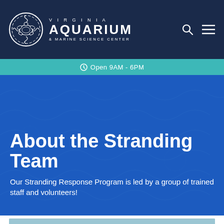[Figure (logo): Virginia Aquarium & Marine Science Center logo: circular white outline with sea turtle silhouette and wave patterns, with VIRGINIA AQUARIUM & MARINE SCIENCE CENTER text beside it on a navy background]
Open 9AM - 6PM
About the Stranding Team
Our Stranding Response Program is led by a group of trained staff and volunteers!
[Figure (photo): Partial view of a photo at the bottom of the page showing people in outdoor/beach setting, sky visible]